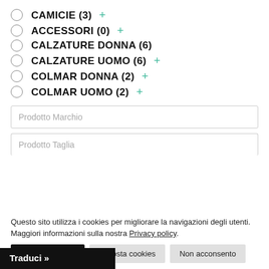CAMICIE (3) +
ACCESSORI (0) +
CALZATURE DONNA (6)
CALZATURE UOMO (6) +
COLMAR DONNA (2) +
COLMAR UOMO (2) +
Prodotto Marchio
Prodotto Taglia
Questo sito utilizza i cookies per migliorare la navigazioni degli utenti. Maggiori informazioni sulla nostra Privacy policy.
Accetto i cookie | Imposta cookies | Non acconsento
Traduci »